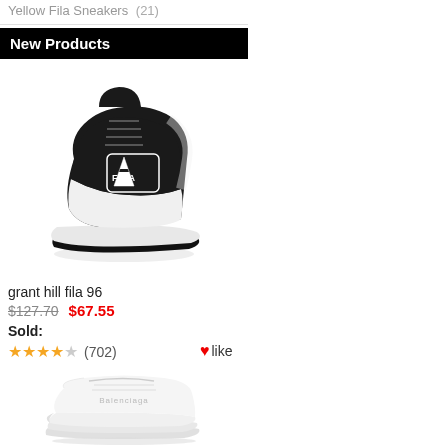Yellow Fila Sneakers (21)
New Products
[Figure (photo): Black and white Fila Grant Hill 96 high-top sneaker, side view showing FILA logo on the side panel]
grant hill fila 96
$127.70  $67.55
Sold:
★★★★☆ (702)  ♥like
[Figure (photo): White/clear chunky sneaker, low-top style with translucent thick sole]